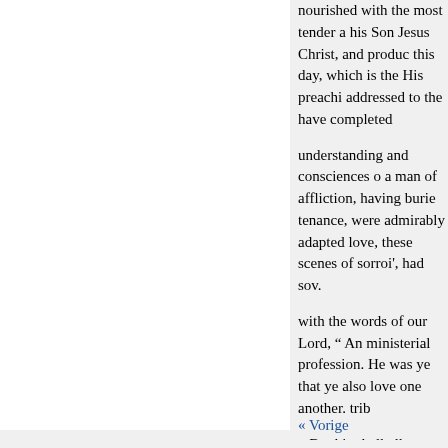nourished with the most tender a his Son Jesus Christ, and produc this day, which is the His preachi addressed to the have completed
understanding and consciences o a man of affliction, having burie tenance, were admirably adapted love, these scenes of sorroi', had sov.
with the words of our Lord, “ An ministerial profession. He was ye that ye also love one another. trib
By this shall all men kuow tha one te distinguished for sobriety, which he kept which he preserve
dence, trat in prosperity he Whil a great revival of religion en per suicierit Redeener, and the
« Vorige